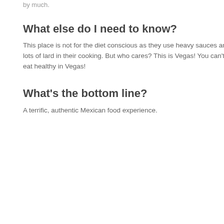by much.
What else do I need to know?
This place is not for the diet conscious as they use heavy sauces and lots of lard in their cooking. But who cares? This is Vegas! You can't eat healthy in Vegas!
What's the bottom line?
A terrific, authentic Mexican food experience.